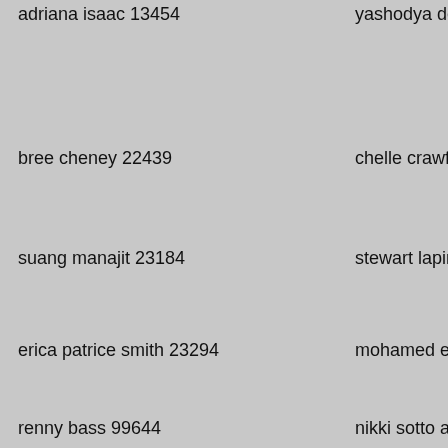adriana isaac 13454
yashodya dewage 11373
habib hamid habib a... 47851
bree cheney 22439
chelle crawford 18728
rere francis 85572
suang manajit 23184
stewart lapinski 62817
porfirio p pasia 54979
erica patrice smith 23294
mohamed elsayed attia 82143
natasha nevarez 4937
renny bass 99644
nikki sotto affleck 56782
karen standeford 848